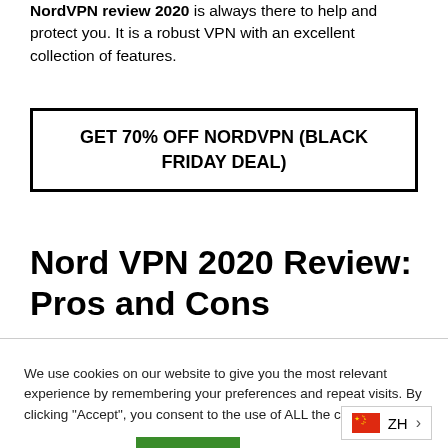NordVPN review 2020 is always there to help and protect you. It is a robust VPN with an excellent collection of features.
GET 70% OFF NORDVPN (BLACK FRIDAY DEAL)
Nord VPN 2020 Review: Pros and Cons
We use cookies on our website to give you the most relevant experience by remembering your preferences and repeat visits. By clicking “Accept”, you consent to the use of ALL the cookies.
Cookie settings | ACCEPT
ZH >